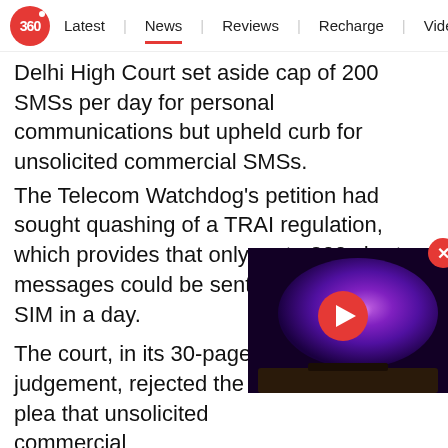360 | Latest | News | Reviews | Recharge | Videos
Delhi High Court set aside cap of 200 SMSs per day for personal communications but upheld curb for unsolicited commercial SMSs.
The Telecom Watchdog's petition had sought quashing of a TRAI regulation, which provides that only up to 200 short messages could be sent through a single SIM in a day.
The court, in its 30-page judgement, rejected the plea that unsolicited commercial communications enjoy the immunity under the constitutional right to freedom of speech and expression.
[Figure (screenshot): Video thumbnail showing a TV with a galaxy/nebula purple background image and a red play button overlay]
"Examined in the light of the aforesaid legal position, it appears to us that UCCs are normally commercial advertisement meant for furtherance of trade and